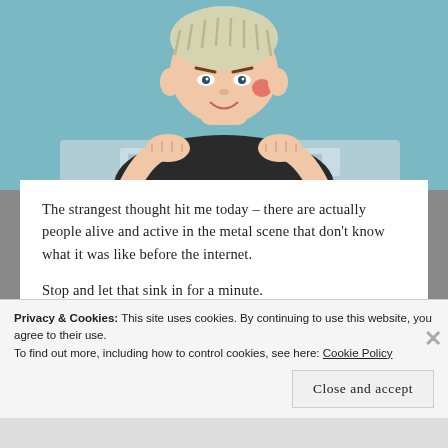[Figure (illustration): Cartoon illustration of a person with short hair typing intensely at a laptop keyboard, viewed from above/front angle, against a teal/blue background.]
The strangest thought hit me today – there are actually people alive and active in the metal scene that don't know what it was like before the internet.
Stop and let that sink in for a minute.
(cliché reflective opening statement to blog post, check. god I'm getting good at this.)
Is the Internet the Last Major Metal Scene?
Privacy & Cookies: This site uses cookies. By continuing to use this website, you agree to their use.
To find out more, including how to control cookies, see here: Cookie Policy
Close and accept